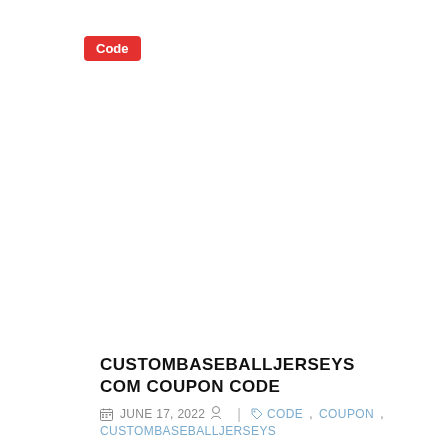Code
CUSTOMBASEBALLJERSEYS COM COUPON CODE
JUNE 17, 2022  |  CODE, COUPON, CUSTOMBASEBALLJERSEYS